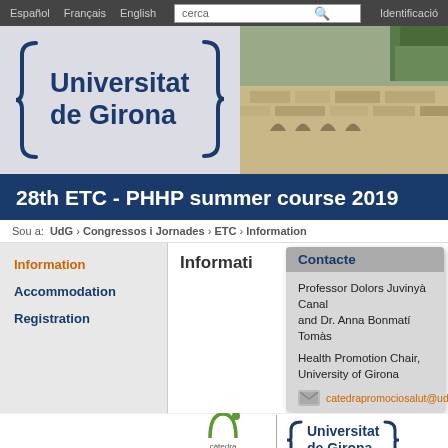Español  Français  English  cerca  Identificació
[Figure (logo): Universitat de Girona logo with curly braces and building photo]
28th ETC - PHHP summer course 2019
Sou a: UdG › Congressos i Jornades › ETC › Information
Information
Accommodation
Registration
Information
Contacte
Professor Dolors Juvinyà Canal and Dr. Anna Bonmatí Tomàs
Health Promotion Chair, University of Girona
catedrapromociosalut@udg.edu
[Figure (logo): Càtedra de promoció de la salut logo and Universitat de Girona logo]